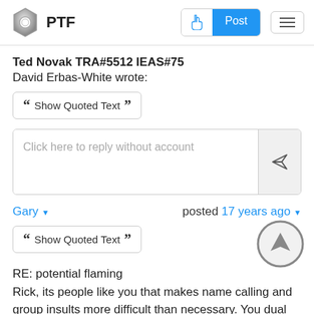PTF
Ted Novak TRA#5512 IEAS#75
David Erbas-White wrote:
Show Quoted Text
Click here to reply without account
Gary  posted 17 years ago
Show Quoted Text
RE: potential flaming
Rick, its people like you that makes name calling and group insults more difficult than necessary. You dual